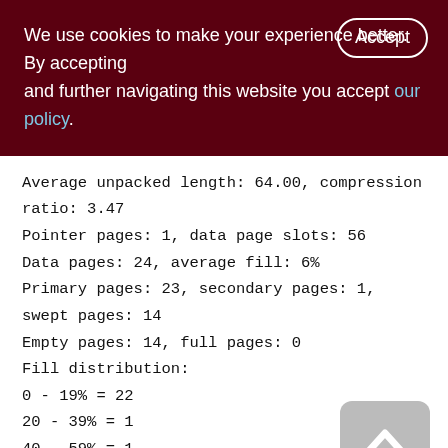We use cookies to make your experience better. By accepting and further navigating this website you accept our policy.
Average unpacked length: 64.00, compression ratio: 3.47
Pointer pages: 1, data page slots: 56
Data pages: 24, average fill: 6%
Primary pages: 23, secondary pages: 1, swept pages: 14
Empty pages: 14, full pages: 0
Fill distribution:
0 - 19% = 22
20 - 39% = 1
40 - 59% = 1
60 - 79% = 0